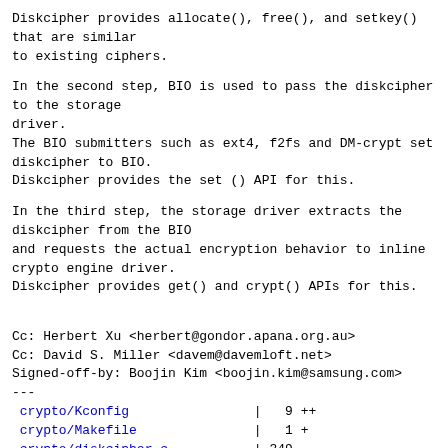Diskcipher provides allocate(), free(), and setkey()
that are similar
to existing ciphers.
In the second step, BIO is used to pass the diskcipher
to the storage
driver.
The BIO submitters such as ext4, f2fs and DM-crypt set
diskcipher to BIO.
Diskcipher provides the set () API for this.
In the third step, the storage driver extracts the
diskcipher from the BIO
and requests the actual encryption behavior to inline
crypto engine driver.
Diskcipher provides get() and crypt() APIs for this.
Cc: Herbert Xu <herbert@gondor.apana.org.au>
Cc: David S. Miller <davem@davemloft.net>
Signed-off-by: Boojin Kim <boojin.kim@samsung.com>
---
 crypto/Kconfig                |   9 ++
 crypto/Makefile               |   1 +
 crypto/diskcipher.c           | 349
++++++++++++++++++++++++++++++++++++++++++++
 crypto/testmgr.c              | 157 +++++++++++++++++++
 include/crypto/diskcipher.h | 245
++++++++++++++++++++++++++++++++
 include/linux/crypto.h        |   1 +
 6 files changed, 762 insertions(+)